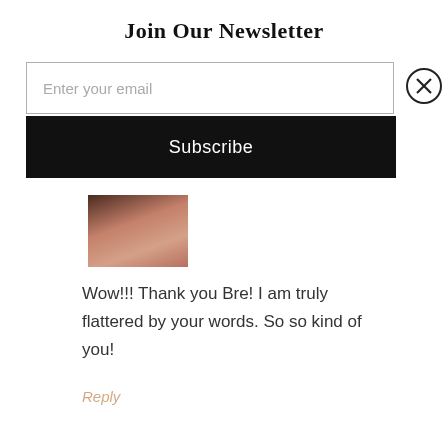Join Our Newsletter
Enter your email
Subscribe
[Figure (photo): Small cropped photo of a person with brown/dark hair, partially visible face]
Wow!!! Thank you Bre! I am truly flattered by your words. So so kind of you!
Reply